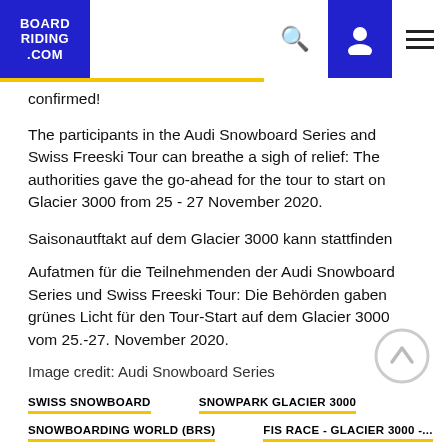BOARDRIDING.COM
confirmed!
The participants in the Audi Snowboard Series and Swiss Freeski Tour can breathe a sigh of relief: The authorities gave the go-ahead for the tour to start on Glacier 3000 from 25 - 27 November 2020.
Saisonautftakt auf dem Glacier 3000 kann stattfinden
Aufatmen für die Teilnehmenden der Audi Snowboard Series und Swiss Freeski Tour: Die Behörden gaben grünes Licht für den Tour-Start auf dem Glacier 3000 vom 25.-27. November 2020.
Image credit: Audi Snowboard Series
SWISS SNOWBOARD   SNOWPARK GLACIER 3000
SNOWBOARDING WORLD (BRS)   FIS RACE - GLACIER 3000 -...